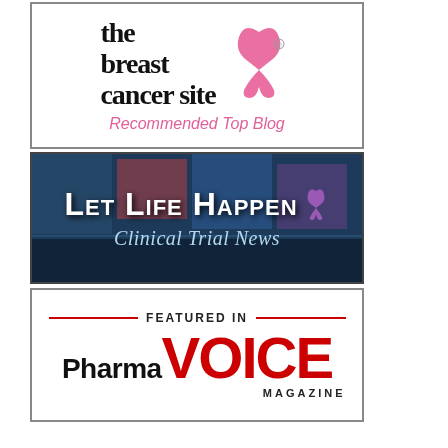[Figure (logo): The Breast Cancer Site - Recommended Top Blog badge. White background with black serif text reading 'the breast cancer site' with a pink ribbon icon and 'Recommended Top Blog' in pink italic text.]
[Figure (logo): Let Life Happen - Clinical Trial News badge. Dark blue/purple gradient background with bold white uppercase text 'LET LIFE HAPPEN' with a purple ribbon, and 'Clinical Trial News' in light blue italic serif text below.]
[Figure (logo): Featured in PharmaVoice Magazine badge. White background with 'FEATURED IN' header between two red lines, 'Pharma' in black bold and 'VOICE' in large red bold text, 'MAGAZINE' in small black caps below.]